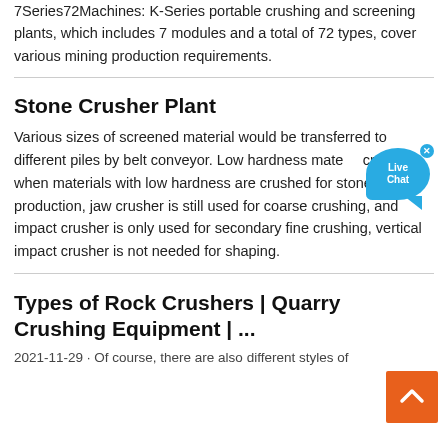7Series72Machines: K-Series portable crushing and screening plants, which includes 7 modules and a total of 72 types, cover various mining production requirements.
Stone Crusher Plant
Various sizes of screened material would be transferred to different piles by belt conveyor. Low hardness material crushing: when materials with low hardness are crushed for stone production, jaw crusher is still used for coarse crushing, and impact crusher is only used for secondary fine crushing, vertical impact crusher is not needed for shaping.
Types of Rock Crushers | Quarry Crushing Equipment | ...
2021-11-29 · Of course, there are also different styles of